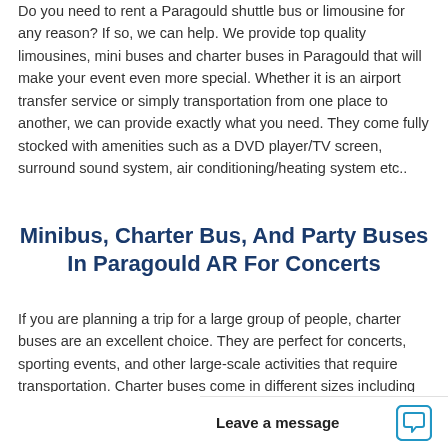Do you need to rent a Paragould shuttle bus or limousine for any reason? If so, we can help. We provide top quality limousines, mini buses and charter buses in Paragould that will make your event even more special. Whether it is an airport transfer service or simply transportation from one place to another, we can provide exactly what you need. They come fully stocked with amenities such as a DVD player/TV screen, surround sound system, air conditioning/heating system etc..
Minibus, Charter Bus, And Party Buses In Paragould AR For Concerts
If you are planning a trip for a large group of people, charter buses are an excellent choice. They are perfect for concerts, sporting events, and other large-scale activities that require transportation. Charter buses come in different sizes including minibuses, midi buses and more passengers it can h